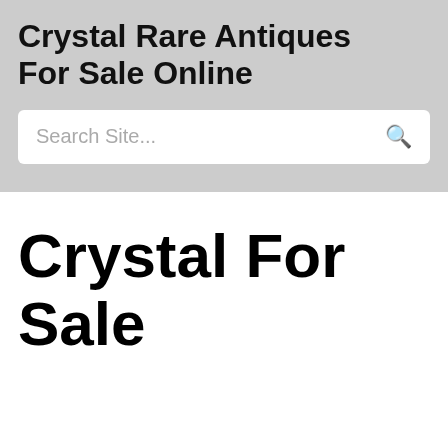Crystal Rare Antiques For Sale Online
Search Site...
Crystal For Sale